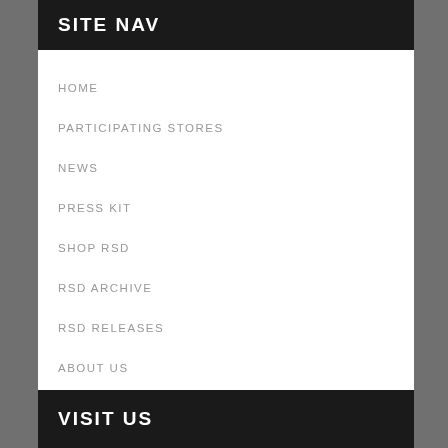SITE NAV
HOME
PARTICIPATING STORES
NEWS
PRESS KIT
SHOP RSD
RSD ARCHIVE
RSD RELEASES
ABOUT US
VISIT US